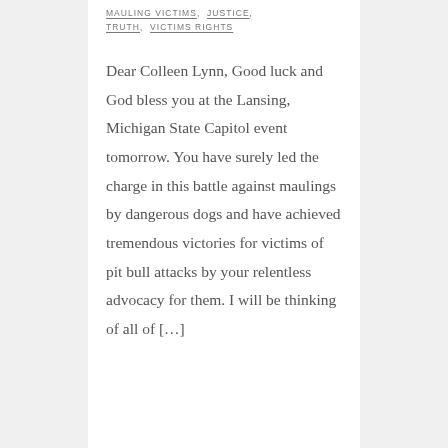MAULING VICTIMS, JUSTICE, TRUTH, VICTIMS RIGHTS
Dear Colleen Lynn, Good luck and God bless you at the Lansing, Michigan State Capitol event tomorrow. You have surely led the charge in this battle against maulings by dangerous dogs and have achieved tremendous victories for victims of pit bull attacks by your relentless advocacy for them. I will be thinking of all of [...]